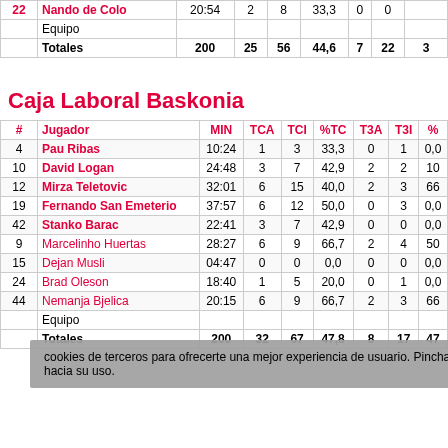| # | Jugador | MIN | TCA | TCI | %TC | T3A | T3I | % |
| --- | --- | --- | --- | --- | --- | --- | --- | --- |
| 22 | Nando de Colo | 20:54 | 2 | 8 | 33,3 | 0 | 0 |  |
|  | Equipo |  |  |  |  |  |  |  |
|  | Totales | 200 | 25 | 56 | 44,6 | 7 | 22 | 3 |
Caja Laboral Baskonia
| # | Jugador | MIN | TCA | TCI | %TC | T3A | T3I | % |
| --- | --- | --- | --- | --- | --- | --- | --- | --- |
| 4 | Pau Ribas | 10:24 | 1 | 3 | 33,3 | 0 | 1 | 0,0 |
| 10 | David Logan | 24:48 | 3 | 7 | 42,9 | 2 | 2 | 10 |
| 12 | Mirza Teletovic | 32:01 | 6 | 15 | 40,0 | 2 | 3 | 66 |
| 19 | Fernando San Emeterio | 37:57 | 6 | 12 | 50,0 | 0 | 3 | 0,0 |
| 42 | Stanko Barac | 22:41 | 3 | 7 | 42,9 | 0 | 0 | 0,0 |
| 9 | Marcelinho Huertas | 28:27 | 6 | 9 | 66,7 | 2 | 4 | 50 |
| 15 | Dejan Musli | 04:47 | 0 | 0 | 0,0 | 0 | 0 | 0,0 |
| 24 | Brad Oleson | 18:40 | 1 | 5 | 20,0 | 0 | 1 | 0,0 |
| 44 | Nemanja Bjelica | 20:15 | 6 | 9 | 66,7 | 2 | 3 | 66 |
|  | Equipo |  |  |  |  |  |  |  |
|  | Totales | 200 | 32 | 67 | 47,8 | 8 | 17 | 47 |